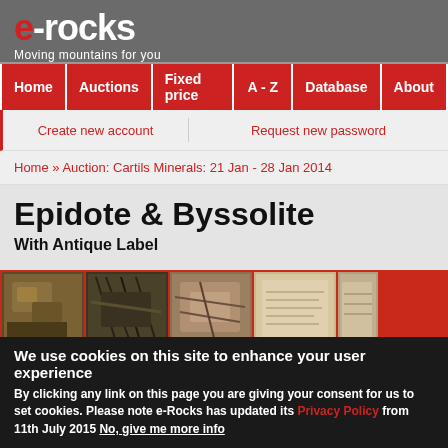e-rocks Moving mountains for you
Home | Auctions | Fixed price | A - Z | Database | About
Create new account | Request new password
Home » Auction: Cartils Minerals: 21 Jan - 28 Jan 2014
Epidote & Byssolite
With Antique Label
[Figure (photo): Five mineral specimen photos of Epidote and Byssolite with antique label]
We use cookies on this site to enhance your user experience
By clicking any link on this page you are giving your consent for us to set cookies. Please note e-Rocks has updated its Privacy Policy from 11th July 2015 No, give me more info